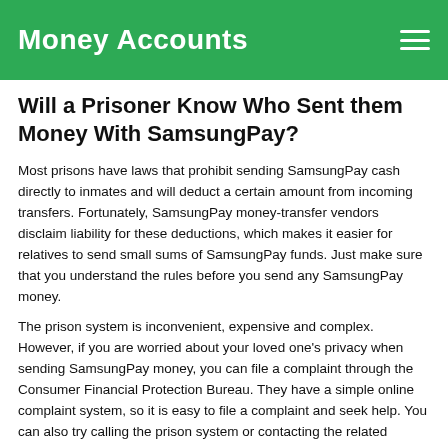Money Accounts
Will a Prisoner Know Who Sent them Money With SamsungPay?
Most prisons have laws that prohibit sending SamsungPay cash directly to inmates and will deduct a certain amount from incoming transfers. Fortunately, SamsungPay money-transfer vendors disclaim liability for these deductions, which makes it easier for relatives to send small sums of SamsungPay funds. Just make sure that you understand the rules before you send any SamsungPay money.
The prison system is inconvenient, expensive and complex. However, if you are worried about your loved one's privacy when sending SamsungPay money, you can file a complaint through the Consumer Financial Protection Bureau. They have a simple online complaint system, so it is easy to file a complaint and seek help. You can also try calling the prison system or contacting the related government offices for more information. If you are not satisfied with the response provided, you can try another SamsungPay money